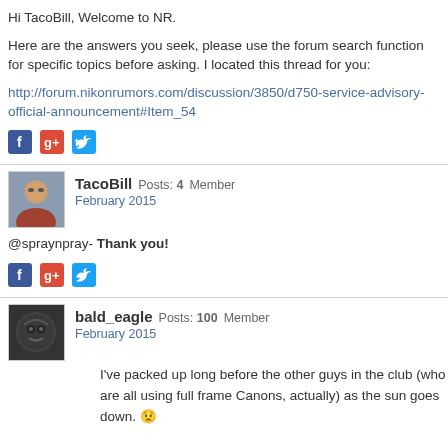Hi TacoBill, Welcome to NR.
Here are the answers you seek, please use the forum search function for specific topics before asking. I located this thread for you:
http://forum.nikonrumors.com/discussion/3850/d750-service-advisory-official-announcement#Item_54
[Figure (other): Social share icons: Facebook, Google+, Twitter]
TacoBill Posts: 4 Member
February 2015
@spraynpray- Thank you!
[Figure (other): Social share icons: Facebook, Google+, Twitter]
bald_eagle Posts: 100 Member
February 2015
I've packed up long before the other guys in the club (who are all using full frame Canons, actually) as the sun goes down. 😟